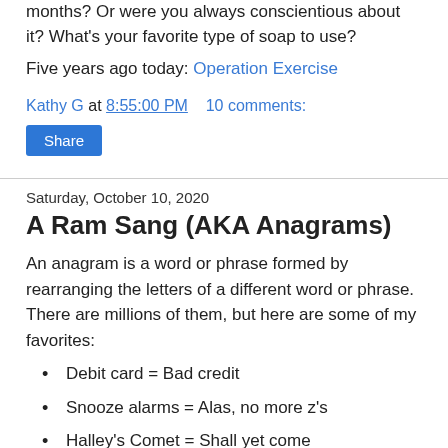months? Or were you always conscientious about it? What's your favorite type of soap to use?
Five years ago today: Operation Exercise
Kathy G at 8:55:00 PM   10 comments:
Share
Saturday, October 10, 2020
A Ram Sang (AKA Anagrams)
An anagram is a word or phrase formed by rearranging the letters of a different word or phrase. There are millions of them, but here are some of my favorites:
Debit card = Bad credit
Snooze alarms = Alas, no more z's
Halley's Comet = Shall yet come